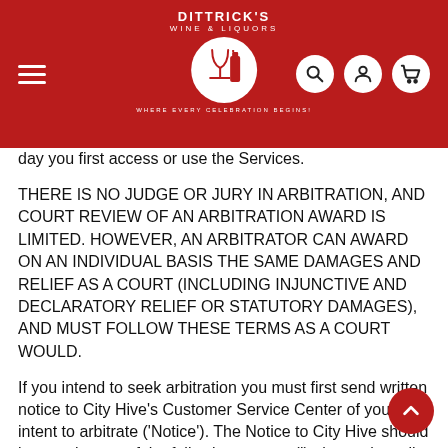Dittrick's Wine & Liquors — WHERE EVERY CELEBRATION BEGINS!
day you first access or use the Services.
THERE IS NO JUDGE OR JURY IN ARBITRATION, AND COURT REVIEW OF AN ARBITRATION AWARD IS LIMITED. HOWEVER, AN ARBITRATOR CAN AWARD ON AN INDIVIDUAL BASIS THE SAME DAMAGES AND RELIEF AS A COURT (INCLUDING INJUNCTIVE AND DECLARATORY RELIEF OR STATUTORY DAMAGES), AND MUST FOLLOW THESE TERMS AS A COURT WOULD.
If you intend to seek arbitration you must first send written notice to City Hive's Customer Service Center of your intent to arbitrate ('Notice'). The Notice to City Hive should be sent by any of the following means: (i) electronic mail to info@CityhHive.net or (ii) U.S. Postal Service certified mail to City Hive, Inc., Attn: Customer